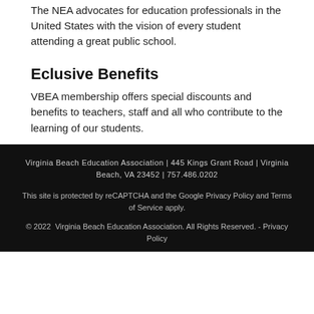The NEA advocates for education professionals in the United States with the vision of every student attending a great public school.
Eclusive Benefits
VBEA membership offers special discounts and benefits to teachers, staff and all who contribute to the learning of our students.
Virginia Beach Education Association | 445 Kings Grant Road | Virginia Beach, VA 23452 | 757.486.0202

This site is protected by reCAPTCHA and the Google Privacy Policy and Terms of Service apply.

© 2022 Virginia Beach Education Association. All Rights Reserved. - Privacy Policy